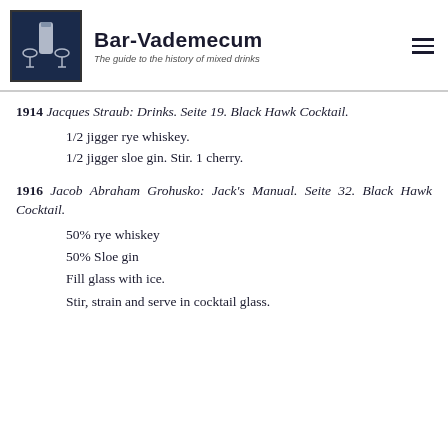Bar-Vademecum – The guide to the history of mixed drinks
1914 Jacques Straub: Drinks. Seite 19. Black Hawk Cocktail.
1/2 jigger rye whiskey.
1/2 jigger sloe gin. Stir. 1 cherry.
1916 Jacob Abraham Grohusko: Jack's Manual. Seite 32. Black Hawk Cocktail.
50% rye whiskey
50% Sloe gin
Fill glass with ice.
Stir, strain and serve in cocktail glass.